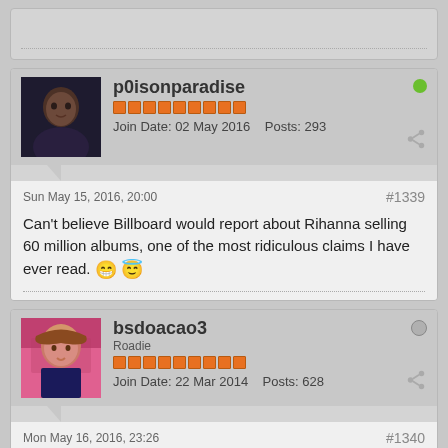[Figure (screenshot): Top partial post block (cut off at top of page)]
p0isonparadise
Join Date: 02 May 2016  Posts: 293
Sun May 15, 2016, 20:00  #1339
Can't believe Billboard would report about Rihanna selling 60 million albums, one of the most ridiculous claims I have ever read.
bsdoacao3
Roadie
Join Date: 22 Mar 2014  Posts: 628
Mon May 16, 2016, 23:26  #1340
she used to be so cute